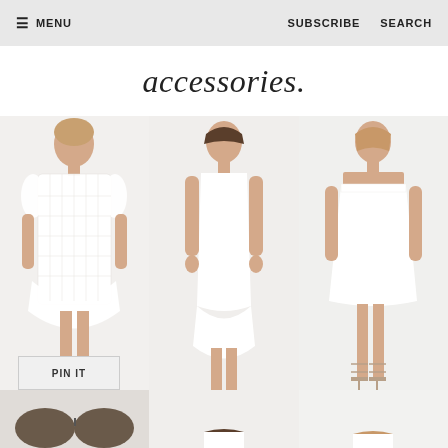≡ MENU    SUBSCRIBE    SEARCH
accessories.
[Figure (photo): Three women modeling white dresses: left - lace/crochet short dress, center - sleeveless midi dress, right - strapless mini dress. All models wear strappy heels.]
PIN IT
[Figure (photo): Bottom row partial view: left - sunglasses/accessory, center - woman in white top, right - woman in white top, partially visible]